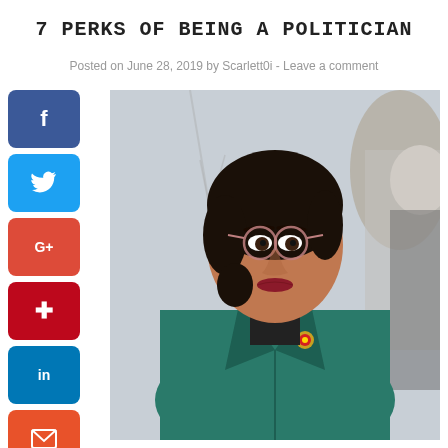7 PERKS OF BEING A POLITICIAN
Posted on June 28, 2019 by Scarlett0i - Leave a comment
[Figure (photo): A woman wearing glasses and a teal blazer with a pin, looking serious, photographed outdoors with other people blurred in background.]
[Figure (infographic): Social media share buttons: Facebook (blue), Twitter (light blue), Google+ (red), Pinterest (dark red), LinkedIn (blue), Email (orange-red)]